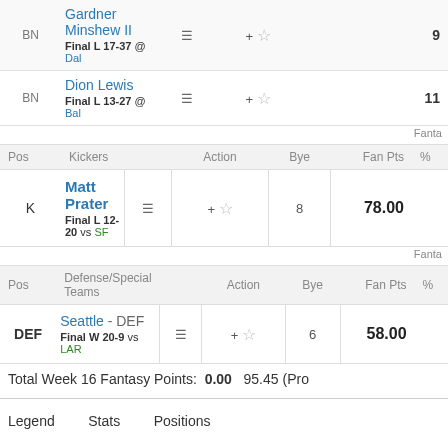| Pos | Kickers |  | Action | Bye | Fan Pts | % |
| --- | --- | --- | --- | --- | --- | --- |
| BN | Gardner Minshew II
Final L 17-37 @ Dal |  | + ☆ |  | 9 |  |
| BN | Dion Lewis
Final L 13-27 @ Bal |  | + ☆ |  | 11 |  |
Fanta...
| Pos | Kickers |  | Action | Bye | Fan Pts | % |
| --- | --- | --- | --- | --- | --- | --- |
| K | Matt Prater
Final L 12-20 vs SF |  | + ☆ | 8 | 78.00 |  |
Fanta...
| Pos | Defense/Special Teams |  | Action | Bye | Fan Pts | % |
| --- | --- | --- | --- | --- | --- | --- |
| DEF | Seattle - DEF
Final W 20-9 vs LAR |  | + ☆ | 6 | 58.00 |  |
Total Week 16 Fantasy Points: 0.00   95.45 (Pro...
Legend
Stats
Positions
My Team Medals